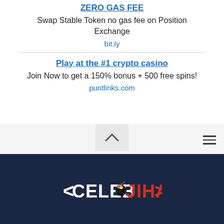ZERO GAS FEE
Swap Stable Token no gas fee on Position Exchange
bit.ly
Play at the #1 crypto casino
Join Now to get a 150% bonus + 500 free spins!
puntlinks.com
[Figure (logo): CelebJihad logo with angular white text on dark navy background and red stylized text]
CelebJihad site footer navigation area with dark navy background